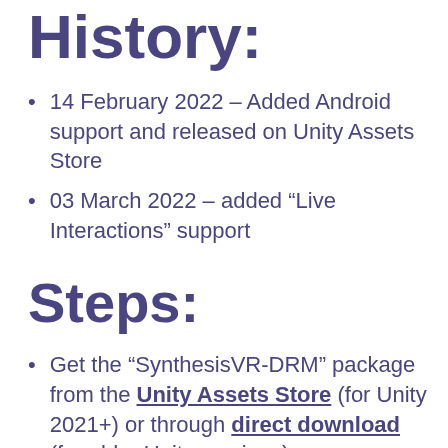History:
14 February 2022 – Added Android support and released on Unity Assets Store
03 March 2022 – added "Live Interactions" support
Steps:
Get the "SynthesisVR-DRM" package from the Unity Assets Store (for Unity 2021+) or through direct download (for older Unity versions)
Add the package to your project
Add the SynthesisRootObject object to